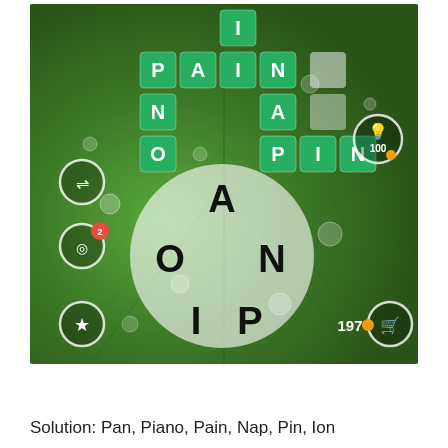[Figure (screenshot): Screenshot of a word puzzle game (Words of Wonders or similar) showing a crossword-style grid with green letter tiles spelling PAIN, PIANO, NAP, PIN, ION on a green leaf background with water drops. A circular letter wheel shows letters A, O, N, I, P. Game UI icons visible: shuffle, daily challenge (with badge 2), hint (100 coins), star, cart. Coin counter shows 197.]
Solution: Pan, Piano, Pain, Nap, Pin, Ion